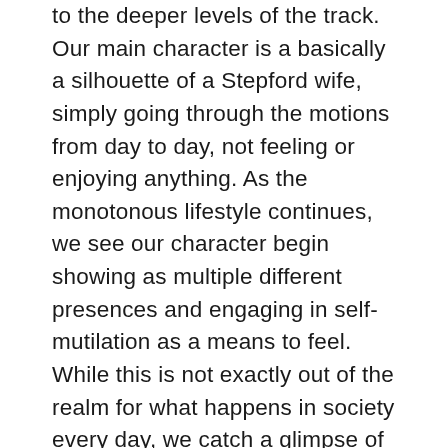to the deeper levels of the track. Our main character is a basically a silhouette of a Stepford wife, simply going through the motions from day to day, not feeling or enjoying anything. As the monotonous lifestyle continues, we see our character begin showing as multiple different presences and engaging in self-mutilation as a means to feel. While this is not exactly out of the realm for what happens in society every day, we catch a glimpse of her eyes as they change entirely to black, which takes things to ten. The beat remains fairly consistent throughout the track with other fills thrown in to distract us from the underlying melody. The noises the instruments make through the...